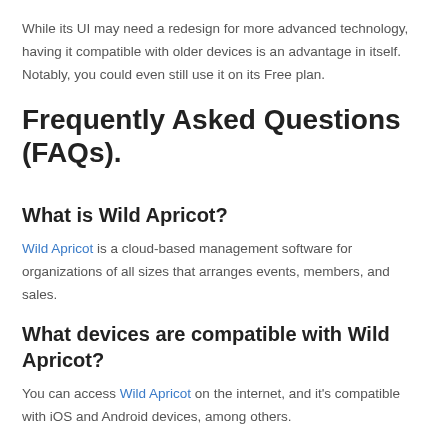While its UI may need a redesign for more advanced technology, having it compatible with older devices is an advantage in itself. Notably, you could even still use it on its Free plan.
Frequently Asked Questions (FAQs).
What is Wild Apricot?
Wild Apricot is a cloud-based management software for organizations of all sizes that arranges events, members, and sales.
What devices are compatible with Wild Apricot?
You can access Wild Apricot on the internet, and it's compatible with iOS and Android devices, among others.